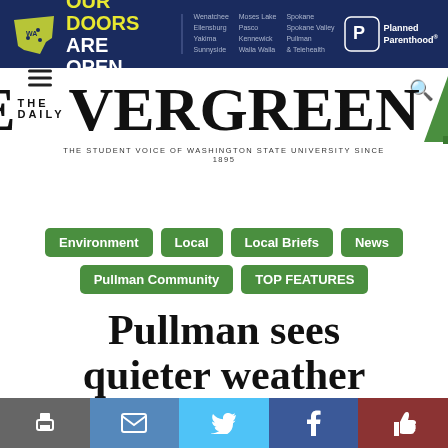[Figure (other): Planned Parenthood advertisement banner with dark blue background, Washington state map logo in yellow, text 'OUR DOORS ARE OPEN.' and list of Washington cities, Planned Parenthood logo on right]
[Figure (logo): The Daily Evergreen newspaper logo with large stylized E, 'THE DAILY' text, 'VERGREEN' text, green pine tree graphic, and tagline 'THE STUDENT VOICE OF WASHINGTON STATE UNIVERSITY SINCE 1895']
Environment
Local
Local Briefs
News
Pullman Community
TOP FEATURES
Pullman sees quieter weather first week of
[Figure (other): Social sharing bar with print, email, Twitter, Facebook, and like buttons]